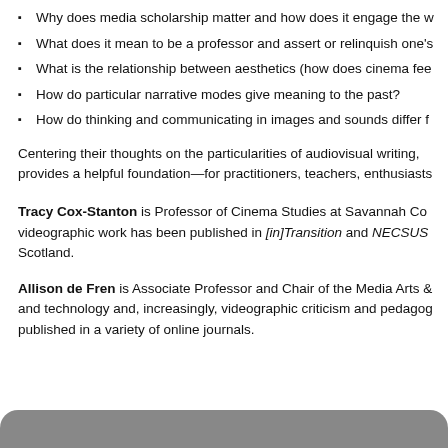Why does media scholarship matter and how does it engage the w
What does it mean to be a professor and assert or relinquish one's
What is the relationship between aesthetics (how does cinema fee
How do particular narrative modes give meaning to the past?
How do thinking and communicating in images and sounds differ f
Centering their thoughts on the particularities of audiovisual writing, provides a helpful foundation—for practitioners, teachers, enthusiasts
Tracy Cox-Stanton is Professor of Cinema Studies at Savannah Co videographic work has been published in [in]Transition and NECSUS Scotland.
Allison de Fren is Associate Professor and Chair of the Media Arts & and technology and, increasingly, videographic criticism and pedagog published in a variety of online journals.